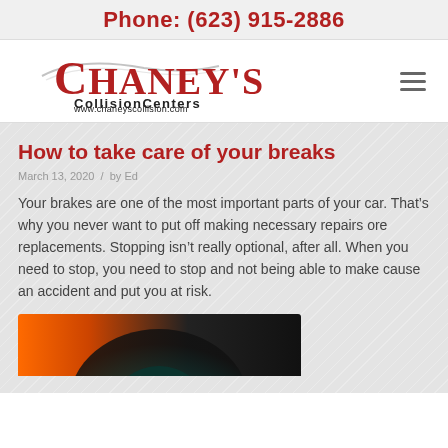Phone: (623) 915-2886
[Figure (logo): Chaney's Collision Centers logo with swooping car silhouette and URL www.chaneyscollision.com]
How to take care of your breaks
March 13, 2020  /  by Ed
Your brakes are one of the most important parts of your car. That’s why you never want to put off making necessary repairs ore replacements. Stopping isn’t really optional, after all. When you need to stop, you need to stop and not being able to make cause an accident and put you at risk.
[Figure (photo): Close-up photo of a car brake disc/rotor with orange and dark tones]